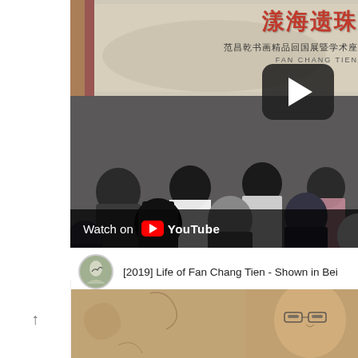[Figure (screenshot): YouTube video thumbnail showing a conference/lecture room with people seated, backs to camera, facing a banner with Chinese calligraphic text reading 漾海遗珠 and subtitle text 范昌乾书画精品回国展暨学术座... with FAN CHANG TIEN partially visible. A dark rounded-rectangle play button is visible in upper right. A 'Watch on YouTube' bar appears at the bottom of the thumbnail.]
[Figure (screenshot): YouTube channel row showing a circular avatar icon with Chinese ink painting style image, followed by the text '[2019] Life of Fan Chang Tien - Shown in Bei...' Channel row above a second video thumbnail showing a sepia-toned portrait of a man with glasses.]